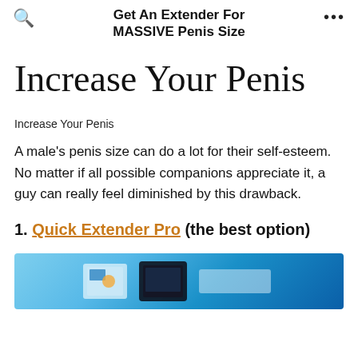Get An Extender For MASSIVE Penis Size
Increase Your Penis
Increase Your Penis
A male's penis size can do a lot for their self-esteem. No matter if all possible companions appreciate it, a guy can really feel diminished by this drawback.
1. Quick Extender Pro (the best option)
[Figure (photo): Product image of Quick Extender Pro device on blue background]